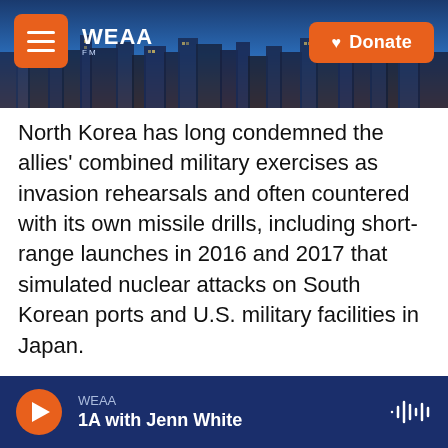WEAA | Donate
North Korea has long condemned the allies' combined military exercises as invasion rehearsals and often countered with its own missile drills, including short-range launches in 2016 and 2017 that simulated nuclear attacks on South Korean ports and U.S. military facilities in Japan.
Discussing the launches with his national security officials, South Korean President Yoon Suk Yeol lamented that North Korea was firing missiles at a pace of once every nine days this year and vowed to strengthen the South's defense in conjuncture
WEAA — 1A with Jenn White